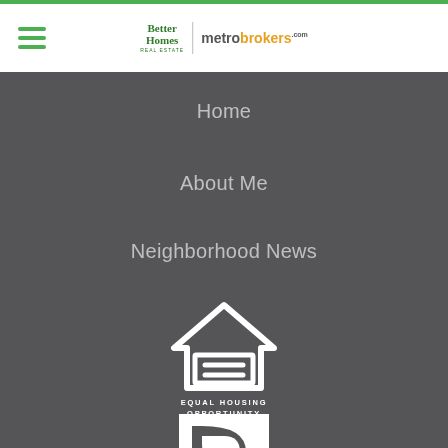[Figure (logo): Better Homes and Gardens Real Estate | metrobrokers.com logo in header]
Home
About Me
Neighborhood News
[Figure (logo): Equal Housing Opportunity logo — house outline with equals sign, text EQUAL HOUSING OPPORTUNITY]
[Figure (logo): Realtor R logo — white square with large R and column detail, partial view]